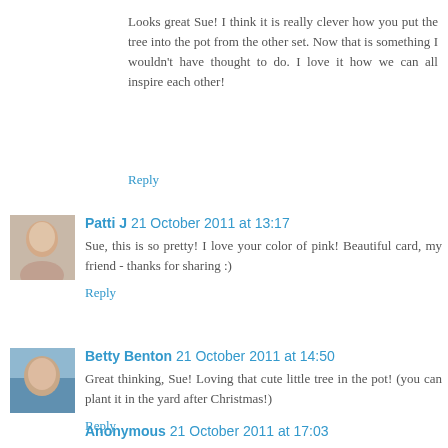Looks great Sue! I think it is really clever how you put the tree into the pot from the other set. Now that is something I wouldn't have thought to do. I love it how we can all inspire each other!
Reply
Patti J 21 October 2011 at 13:17
Sue, this is so pretty! I love your color of pink! Beautiful card, my friend - thanks for sharing :)
Reply
Betty Benton 21 October 2011 at 14:50
Great thinking, Sue! Loving that cute little tree in the pot! (you can plant it in the yard after Christmas!)
Reply
Anonymous 21 October 2011 at 17:03